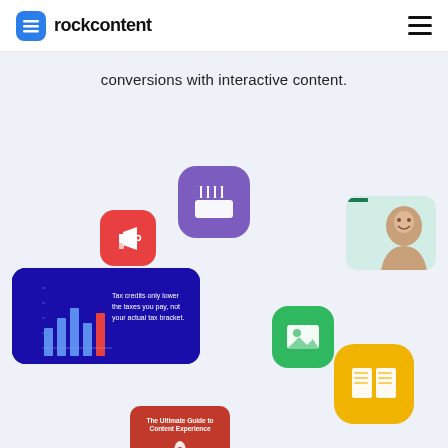rockcontent
conversions with interactive content.
[Figure (screenshot): Purple rounded-rectangle app icon with a film clapperboard (clapper) symbol in white]
[Figure (screenshot): Red rounded-rectangle app icon with a white megaphone symbol]
[Figure (screenshot): Card showing a smiling woman on a green/teal background, partially cut out]
[Figure (screenshot): Blue card showing a bar chart with text 'Tax credits only lower the taxes you pay, not your actual tax bracket.']
[Figure (screenshot): Green rounded-rectangle app icon with a white image/landscape symbol]
[Figure (screenshot): Yellow/gold rounded-rectangle app icon with a white open book symbol]
[Figure (screenshot): Red card with title 'The Ultimate Guide to Content Experience' and a rocket illustration]